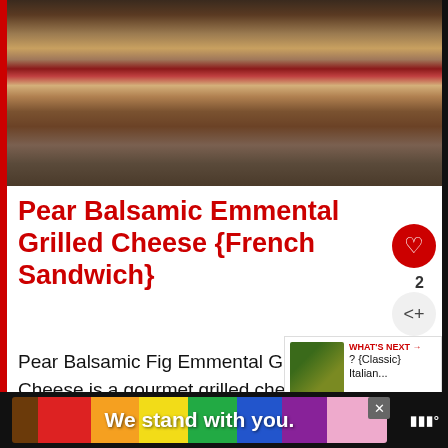[Figure (photo): Close-up photo of a tall stacked sandwich/grilled cheese on a wooden surface, showing layers of bread, cheese, and meat]
Pear Balsamic Emmental Grilled Cheese {French Sandwich}
Pear Balsamic Fig Emmental Grilled Cheese is a gourmet grilled cheese.
[Figure (screenshot): WHAT'S NEXT panel showing a small food image and text '? {Classic} Italian...']
We stand with you.